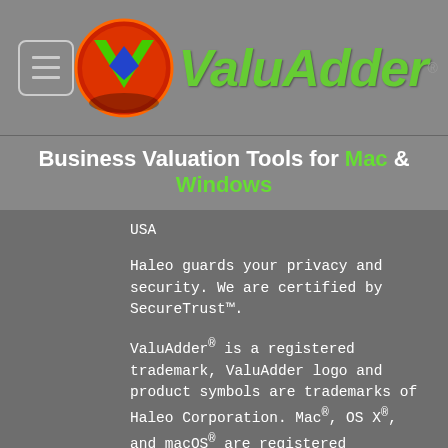[Figure (logo): ValuAdder logo with circular red/orange background containing a green V and blue diamond shape, followed by green italic 'ValuAdder' text with registered trademark symbol]
Business Valuation Tools for Mac & Windows
USA
Haleo guards your privacy and security. We are certified by SecureTrust™.
ValuAdder® is a registered trademark, ValuAdder logo and product symbols are trademarks of Haleo Corporation. Mac®, OS X®, and macOS® are registered trademarks of Apple, Inc. Windows® is a registered trademark of Microsoft Corporation. All other trademarks are property of their